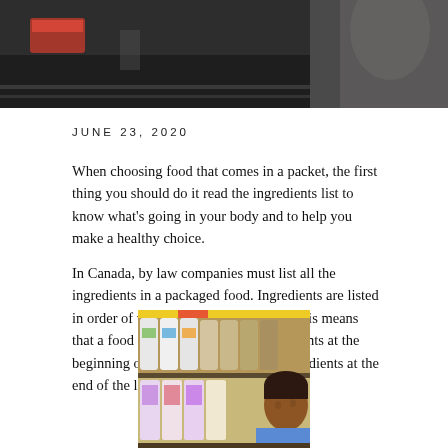[Figure (photo): Dark photograph showing a store or shopping scene, partially visible at the top of the page]
JUNE 23, 2020
When choosing food that comes in a packet, the first thing you should do it read the ingredients list to know what's going in your body and to help you make a healthy choice.
In Canada, by law companies must list all the ingredients in a packaged food. Ingredients are listed in order of weight from most to least. This means that a food contains more of the ingredients at the beginning of the list and less of the ingredients at the end of the list.
[Figure (photo): Photo of a child looking at grocery store shelves stocked with milk and food products]